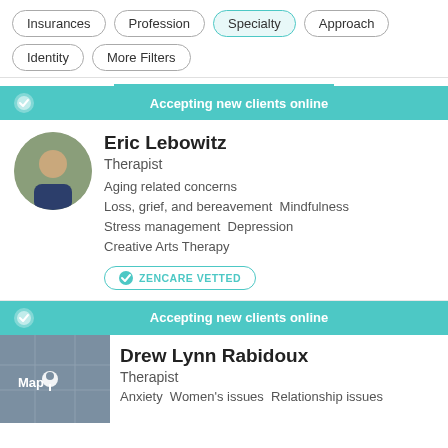Insurances
Profession
Specialty
Approach
Identity
More Filters
Accepting new clients online
Eric Lebowitz
Therapist
Aging related concerns Loss, grief, and bereavement Mindfulness Stress management Depression Creative Arts Therapy
ZENCARE VETTED
Accepting new clients online
Drew Lynn Rabidoux
Therapist
Anxiety Women's issues Relationship issues